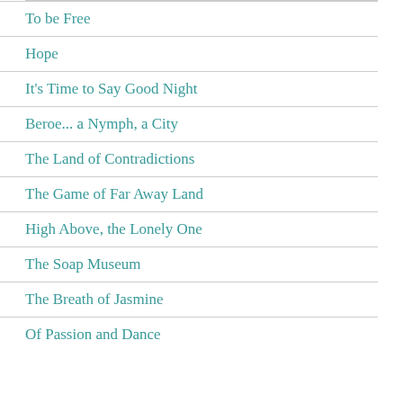To be Free
Hope
It's Time to Say Good Night
Beroe... a Nymph, a City
The Land of Contradictions
The Game of Far Away Land
High Above, the Lonely One
The Soap Museum
The Breath of Jasmine
Of Passion and Dance